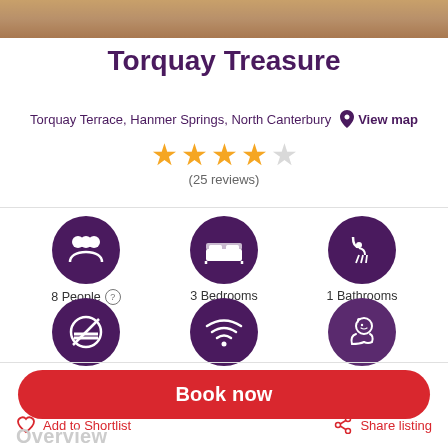[Figure (photo): Top photo bar showing wooden surface/interior]
Torquay Treasure
Torquay Terrace, Hanmer Springs, North Canterbury  View map
[Figure (infographic): 4 out of 5 star rating (25 reviews)]
(25 reviews)
[Figure (infographic): Amenity icons row 1: 8 People, 3 Bedrooms, 1 Bathrooms]
8 People  3 Bedrooms  1 Bathrooms
[Figure (infographic): Amenity icons row 2: No smoking, WiFi, Pets allowed]
Book now
Add to Shortlist
Share listing
Overview